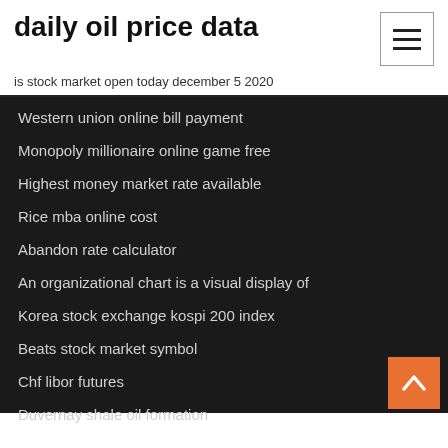daily oil price data
is stock market open today december 5 2020
Western union online bill payment
Monopoly millionaire online game free
Highest money market rate available
Rice mba online cost
Abandon rate calculator
An organizational chart is a visual display of
Korea stock exchange kospi 200 index
Beats stock market symbol
Chf libor futures
Duvernay shale oil formation